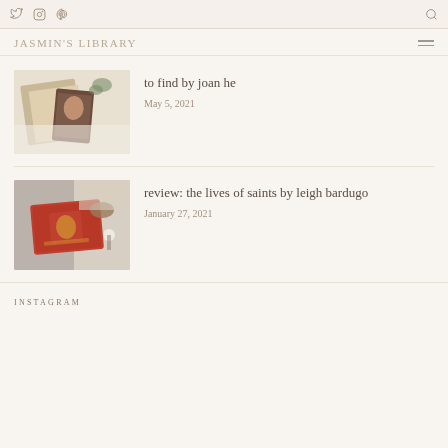Twitter | Instagram | Pinterest | Search
JASMIN'S LIBRARY
to find by joan he
May 5, 2021
review: the lives of saints by leigh bardugo
January 27, 2021
INSTAGRAM